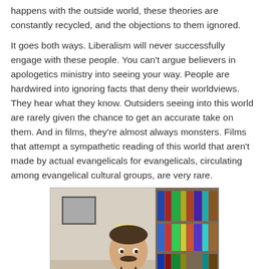happens with the outside world, these theories are constantly recycled, and the objections to them ignored.
It goes both ways. Liberalism will never successfully engage with these people. You can't argue believers in apologetics ministry into seeing your way. People are hardwired into ignoring facts that deny their worldviews. They hear what they know. Outsiders seeing into this world are rarely given the chance to get an accurate take on them. And in films, they're almost always monsters. Films that attempt a sympathetic reading of this world that aren't made by actual evangelicals for evangelicals, circulating among evangelical cultural groups, are very rare.
[Figure (photo): A man with a mustache in a suit and tie sitting at a desk, bookshelves visible in the background, hands clasped together in front of him.]
Like Jared and Jerusha Hess's preceding film, Gentlemen